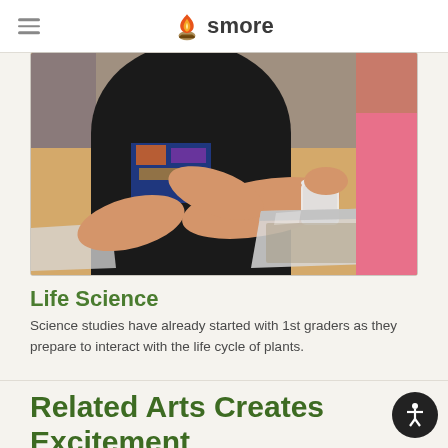smore
[Figure (photo): A student at a desk pouring seeds from a small plastic cup, with a large clear bag of seeds on the table in front of them. Another student in a pink shirt is visible in the background.]
Life Science
Science studies have already started with 1st graders as they prepare to interact with the life cycle of plants.
Related Arts Creates Excitement